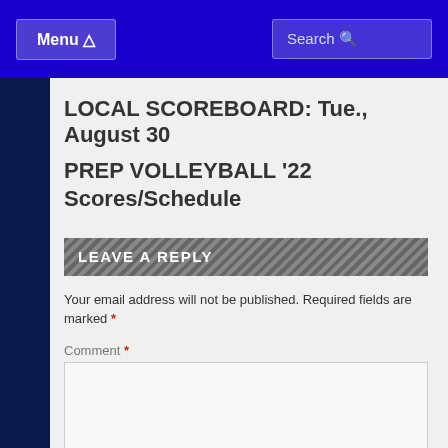Menu | Search
LOCAL SCOREBOARD: Tue., August 30
PREP VOLLEYBALL '22 Scores/Schedule
LEAVE A REPLY
Your email address will not be published. Required fields are marked *
Comment *
Name *
Email *